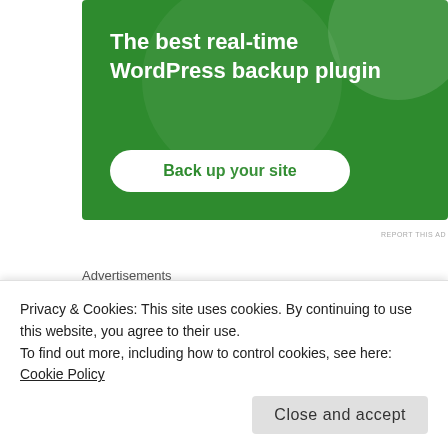[Figure (illustration): Green advertisement banner for a WordPress backup plugin with headline 'The best real-time WordPress backup plugin' and a white 'Back up your site' button]
REPORT THIS AD
Advertisements
[Figure (logo): Red Longreads advertisement banner showing the Longreads logo with a circular L icon and decorative lines]
Privacy & Cookies: This site uses cookies. By continuing to use this website, you agree to their use.
To find out more, including how to control cookies, see here: Cookie Policy